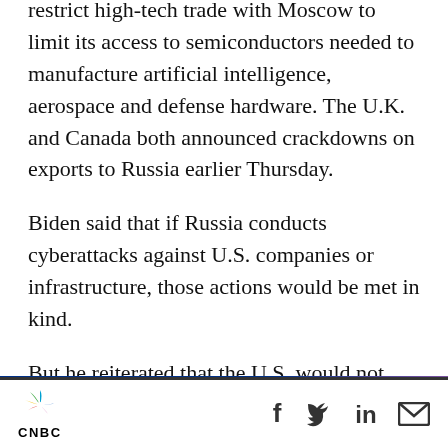restrict high-tech trade with Moscow to limit its access to semiconductors needed to manufacture artificial intelligence, aerospace and defense hardware. The U.K. and Canada both announced crackdowns on exports to Russia earlier Thursday.
Biden said that if Russia conducts cyberattacks against U.S. companies or infrastructure, those actions would be met in kind.
But he reiterated that the U.S. would not send troops into Ukraine.
“Our forces are not and will not be engaged in the
CNBC | social icons: Facebook, Twitter, LinkedIn, Email